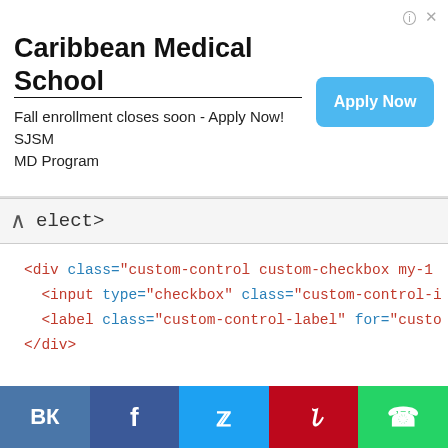[Figure (screenshot): Advertisement banner for Caribbean Medical School with Apply Now button]
elect>
<div class="custom-control custom-checkbox my-1
    <input type="checkbox" class="custom-control-i
    <label class="custom-control-label" for="custo
</div>

<button type="submit" class="btn btn-primary my-
</form>
Альтернатива скрытым лейблам
Вспомогательные технологии, такие как